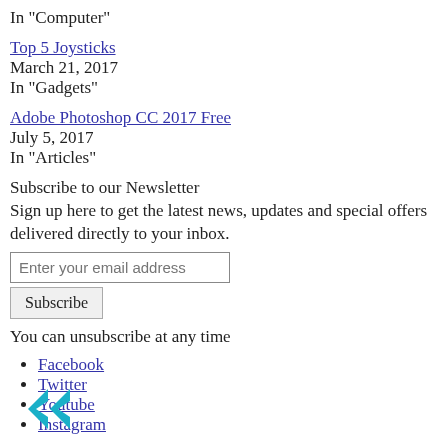In "Computer"
Top 5 Joysticks
March 21, 2017
In "Gadgets"
Adobe Photoshop CC 2017 Free
July 5, 2017
In "Articles"
Subscribe to our Newsletter
Sign up here to get the latest news, updates and special offers delivered directly to your inbox.
Enter your email address
Subscribe
You can unsubscribe at any time
Facebook
Twitter
Youtube
Instagram
[Figure (logo): Stylized double arrow logo in teal/blue color]